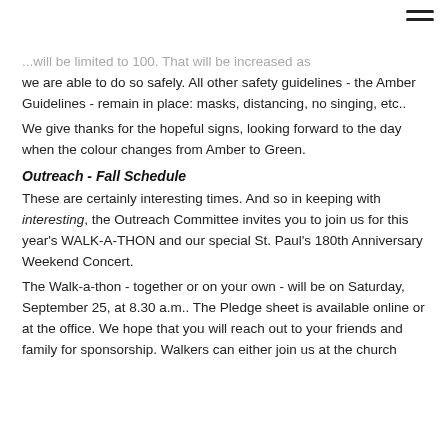...will be limited to 100. That will be increased as we are able to do so safely. All other safety guidelines - the Amber Guidelines - remain in place: masks, distancing, no singing, etc..
We give thanks for the hopeful signs, looking forward to the day when the colour changes from Amber to Green.
Outreach - Fall Schedule
These are certainly interesting times. And so in keeping with interesting, the Outreach Committee invites you to join us for this year's WALK-A-THON and our special St. Paul's 180th Anniversary Weekend Concert.
The Walk-a-thon - together or on your own - will be on Saturday, September 25, at 8.30 a.m.. The Pledge sheet is available online or at the office. We hope that you will reach out to your friends and family for sponsorship. Walkers can either join us at the church